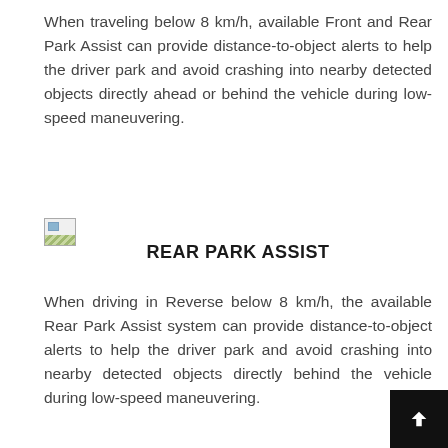When traveling below 8 km/h, available Front and Rear Park Assist can provide distance-to-object alerts to help the driver park and avoid crashing into nearby detected objects directly ahead or behind the vehicle during low-speed maneuvering.
[Figure (illustration): Broken image icon placeholder for a vehicle park assist illustration]
REAR PARK ASSIST
When driving in Reverse below 8 km/h, the available Rear Park Assist system can provide distance-to-object alerts to help the driver park and avoid crashing into nearby detected objects directly behind the vehicle during low-speed maneuvering.